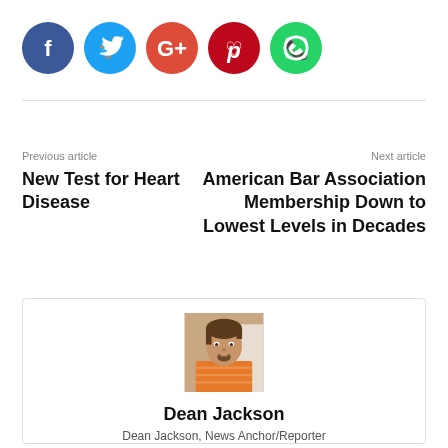[Figure (other): Row of five social media share buttons: Facebook (dark blue), Twitter (light blue), Google+ (orange-red), Pinterest (dark red), WhatsApp (green)]
Previous article
New Test for Heart Disease
Next article
American Bar Association Membership Down to Lowest Levels in Decades
[Figure (photo): Headshot photo of Dean Jackson, a man with brown hair and a goatee wearing an orange striped shirt]
Dean Jackson
Dean Jackson, News Anchor/Reporter